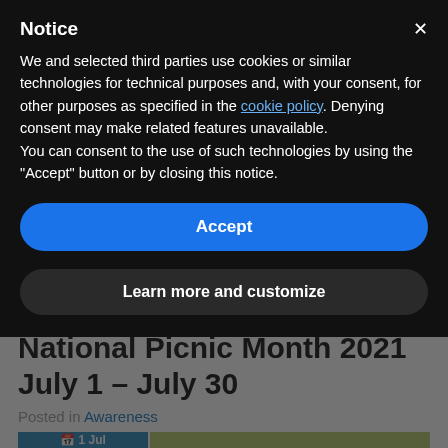Notice
We and selected third parties use cookies or similar technologies for technical purposes and, with your consent, for other purposes as specified in the cookie policy. Denying consent may make related features unavailable.
You can consent to the use of such technologies by using the "Accept" button or by closing this notice.
Accept
Learn more and customize
National Picnic Month 2021 July 1 - July 30
Posted in Awareness
1 Jul